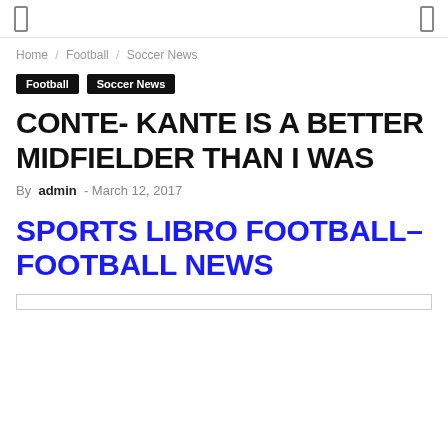Home / Football / Soccer News
Football   Soccer News
CONTE- KANTE IS A BETTER MIDFIELDER THAN I WAS
By admin - March 12, 2017
SPORTS LIBRO FOOTBALL–FOOTBALL NEWS